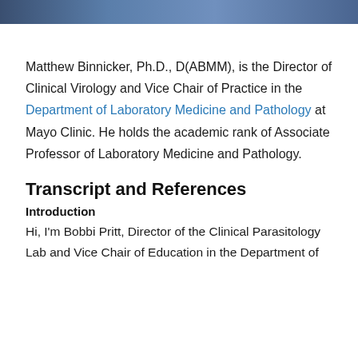[Figure (photo): Partial photo strip at top of page showing a person in blue, cropped]
Matthew Binnicker, Ph.D., D(ABMM), is the Director of Clinical Virology and Vice Chair of Practice in the Department of Laboratory Medicine and Pathology at Mayo Clinic. He holds the academic rank of Associate Professor of Laboratory Medicine and Pathology.
Transcript and References
Introduction
Hi, I'm Bobbi Pritt, Director of the Clinical Parasitology Lab and Vice Chair of Education in the Department of